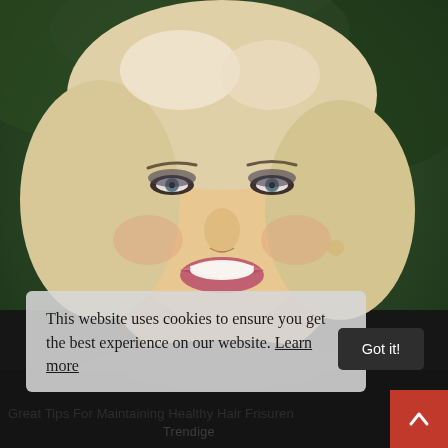[Figure (photo): Portrait photo of a smiling middle-aged woman with blonde wavy bob haircut, wearing a dark/black top with a thin necklace, against a green bokeh background. Professional headshot style.]
This website uses cookies to ensure you get the best experience on our website. Learn more
Got it!
Great Tips For Maintaining Healthy Hair Frisuren Trendige